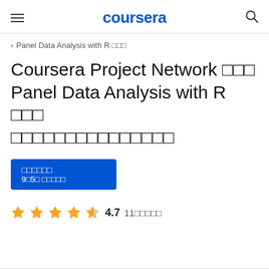coursera
< Panel Data Analysis with R □□□
Coursera Project Network □□□ Panel Data Analysis with R □□□ □□□□□□□□□□□□□□□
□□□□□□ 9□5□ □□□□□
4.7  11□□□□□